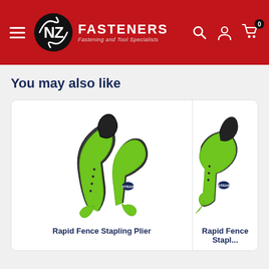NZ Fasteners – Fastening and Tool Specialists
You may also like
[Figure (photo): Rapid Fence Stapling Plier – green and grey hand tool with claw ends, viewed from the side]
Rapid Fence Stapling Plier
[Figure (photo): Rapid Fence Stapling Plier (partial view) – green and grey hand tool, right card partially cropped]
Rapid Fence Stapl...